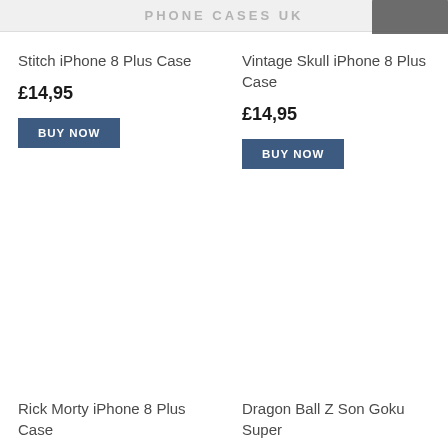PHONE CASES UK
Stitch iPhone 8 Plus Case
£14,95
BUY NOW
Vintage Skull iPhone 8 Plus Case
£14,95
BUY NOW
Rick Morty iPhone 8 Plus Case
Dragon Ball Z Son Goku Super